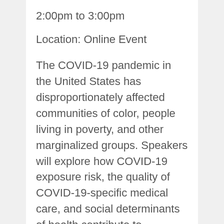2:00pm to 3:00pm
Location: Online Event
The COVID-19 pandemic in the United States has disproportionately affected communities of color, people living in poverty, and other marginalized groups. Speakers will explore how COVID-19 exposure risk, the quality of COVID-19-specific medical care, and social determinants of health contribute to disparate trends in COVID-19 infection and mortality seen in the United States. Speakers will be asked to comment on the